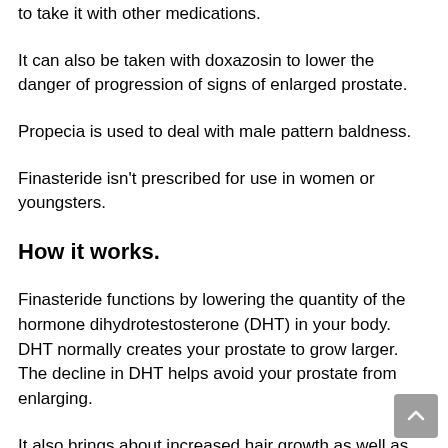to take it with other medications.
It can also be taken with doxazosin to lower the danger of progression of signs of enlarged prostate.
Propecia is used to deal with male pattern baldness.
Finasteride isn't prescribed for use in women or youngsters.
How it works.
Finasteride functions by lowering the quantity of the hormone dihydrotestosterone (DHT) in your body. DHT normally creates your prostate to grow larger.
The decline in DHT helps avoid your prostate from enlarging.
It also brings about increased hair growth as well as lowered